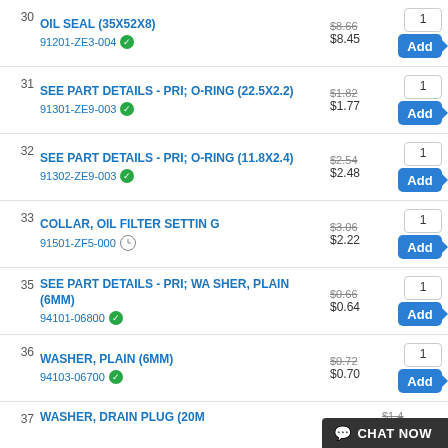30 OIL SEAL (35X52X8) 91201-ZE3-004 $8.66 $8.45
31 SEE PART DETAILS - PRI; O-RING (22.5X2.2) 91301-ZE9-003 $1.82 $1.77
32 SEE PART DETAILS - PRI; O-RING (11.8X2.4) 91302-ZE9-003 $2.54 $2.48
33 COLLAR, OIL FILTER SETTING 91501-ZF5-000 $3.06 $2.22
35 SEE PART DETAILS - PRI; WASHER, PLAIN (6MM) 94101-06800 $0.66 $0.64
36 WASHER, PLAIN (6MM) 94103-06700 $0.72 $0.70
37 WASHER, DRAIN PLUG (20M $1.4...